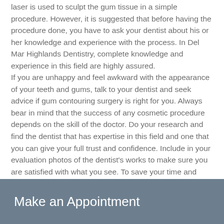laser is used to sculpt the gum tissue in a simple procedure. However, it is suggested that before having the procedure done, you have to ask your dentist about his or her knowledge and experience with the process. In Del Mar Highlands Dentistry, complete knowledge and experience in this field are highly assured.
If you are unhappy and feel awkward with the appearance of your teeth and gums, talk to your dentist and seek advice if gum contouring surgery is right for you. Always bear in mind that the success of any cosmetic procedure depends on the skill of the doctor. Do your research and find the dentist that has expertise in this field and one that you can give your full trust and confidence. Include in your evaluation photos of the dentist's works to make sure you are satisfied with what you see. To save your time and effort to find one, go directly to Del Mar Highlands Dentistry where gum recontouring service is available, and the best procedure is attainable.
Make an Appointment